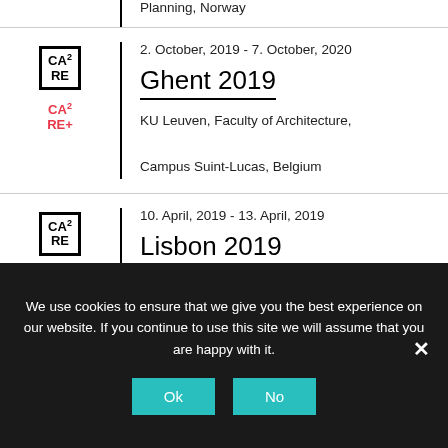Planning, Norway
[Figure (logo): CA²RE logo (black bordered) and CA²RE+ logo (red text)]
2. October, 2019 - 7. October, 2020
Ghent 2019
KU Leuven, Faculty of Architecture,
Campus Suint-Lucas, Belgium
[Figure (logo): CA²RE logo (black bordered)]
10. April, 2019 - 13. April, 2019
Lisbon 2019
University of Lisbon, Faculty of Architecture, Portugal
We use cookies to ensure that we give you the best experience on our website. If you continue to use this site we will assume that you are happy with it.